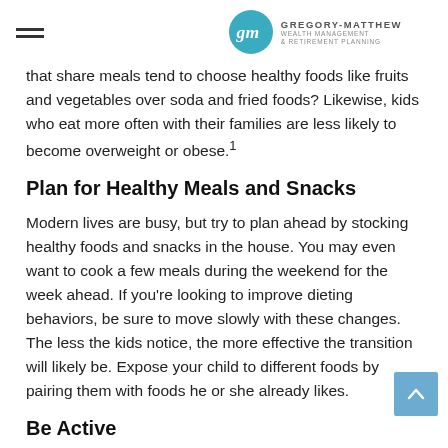Gregory-Matthew Wealth Management & Retirement Planning
that share meals tend to choose healthy foods like fruits and vegetables over soda and fried foods? Likewise, kids who eat more often with their families are less likely to become overweight or obese.1
Plan for Healthy Meals and Snacks
Modern lives are busy, but try to plan ahead by stocking healthy foods and snacks in the house. You may even want to cook a few meals during the weekend for the week ahead. If you’re looking to improve dieting behaviors, be sure to move slowly with these changes. The less the kids notice, the more effective the transition will likely be. Expose your child to different foods by pairing them with foods he or she already likes.
Be Active